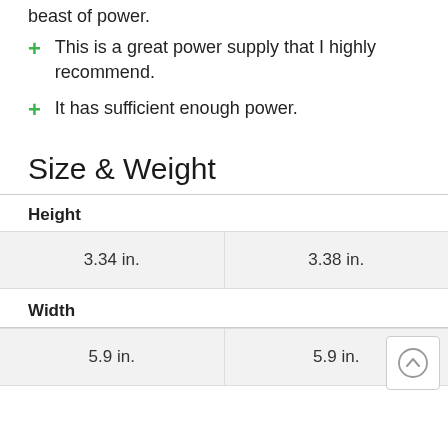beast of power.
This is a great power supply that I highly recommend.
It has sufficient enough power.
Size & Weight
| Height |  |  |
| --- | --- | --- |
|  | 3.34 in. | 3.38 in. |
| Width |  |  |
|  | 5.9 in. | 5.9 in. |